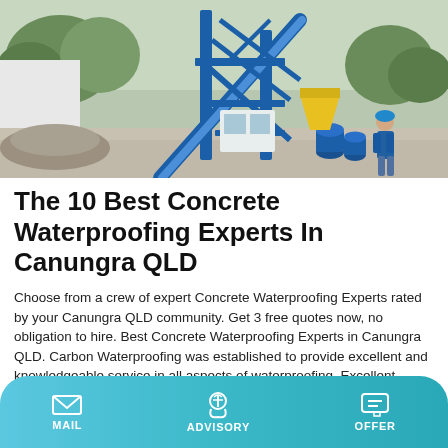[Figure (photo): Photo of a large blue industrial concrete mixing plant/machine with a worker in blue uniform standing nearby, piles of gravel/aggregate on the ground, trees in the background.]
The 10 Best Concrete Waterproofing Experts In Canungra QLD
Choose from a crew of expert Concrete Waterproofing Experts rated by your Canungra QLD community. Get 3 free quotes now, no obligation to hire. Best Concrete Waterproofing Experts in Canungra QLD. Carbon Waterproofing was established to provide excellent and knowledgeable service in all aspects of waterproofing. Excellent Knowledge
Learn More
MAIL   ADVISORY   OFFER